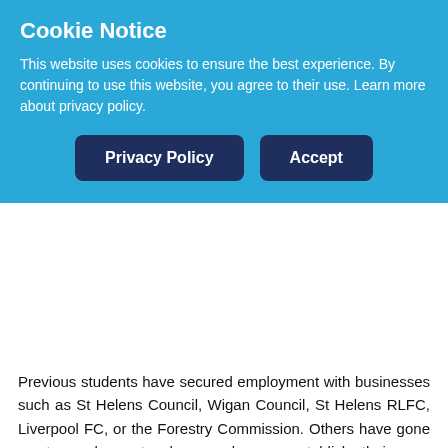Cookie Notice
This website uses cookies to ensure the best experience. By continuing to use this website, you agree to their use. Learn more about privacy policy.
Privacy Policy | Accept
Previous students have secured employment with businesses such as St Helens Council, Wigan Council, St Helens RLFC, Liverpool FC, or the Forestry Commission. Others have gone on to work as teachers and even establish their own businesses and nurseries.
You will stand out
With the great outdoors as your classroom, you will work hands-on in local parks, woodlands and gardens. You will have the opportunity to build new network links, friendships, life-long skills and relevant knowledge. You will study hard and will be immersed in the environment you